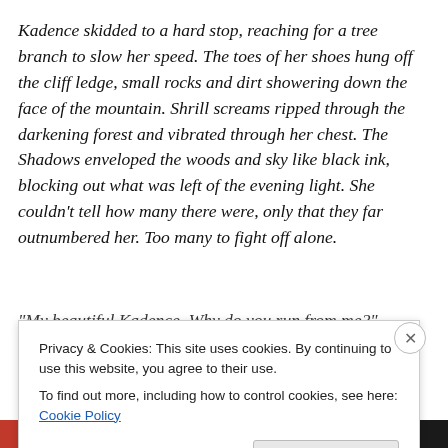Kadence skidded to a hard stop, reaching for a tree branch to slow her speed. The toes of her shoes hung off the cliff ledge, small rocks and dirt showering down the face of the mountain. Shrill screams ripped through the darkening forest and vibrated through her chest. The Shadows enveloped the woods and sky like black ink, blocking out what was left of the evening light. She couldn't tell how many there were, only that they far outnumbered her. Too many to fight off alone.
“My beautiful Kadence. Why do you run from me?”
Privacy & Cookies: This site uses cookies. By continuing to use this website, you agree to their use.
To find out more, including how to control cookies, see here: Cookie Policy